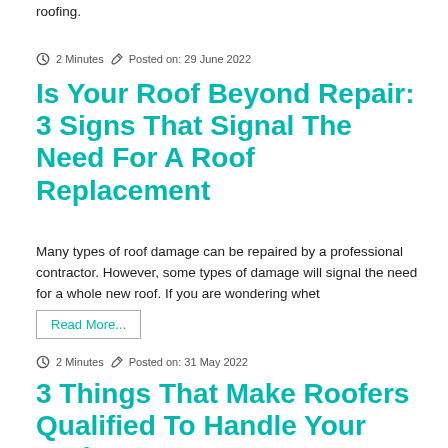roofing.
2 Minutes  Posted on: 29 June 2022
Is Your Roof Beyond Repair: 3 Signs That Signal The Need For A Roof Replacement
Many types of roof damage can be repaired by a professional contractor. However, some types of damage will signal the need for a whole new roof. If you are wondering whet
Read More...
2 Minutes  Posted on: 31 May 2022
3 Things That Make Roofers Qualified To Handle Your Project